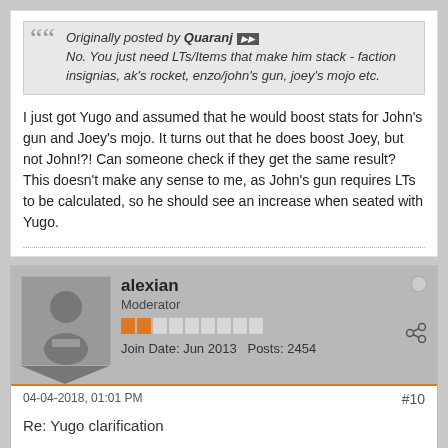Originally posted by Quaranj [arrow] No. You just need LTs/Items that make him stack - faction insignias, ak's rocket, enzo/john's gun, joey's mojo etc.
I just got Yugo and assumed that he would boost stats for John's gun and Joey's mojo. It turns out that he does boost Joey, but not John!?! Can someone check if they get the same result? This doesn't make any sense to me, as John's gun requires LTs to be calculated, so he should see an increase when seated with Yugo.
alexian
Moderator
Join Date: Jun 2013   Posts: 2454
04-04-2018, 01:01 PM
#10
Re: Yugo clarification
Are you looking at the green numbers? The white numbers will not modify.
On the account I have Yugo I don't have John's pistol, but I can build